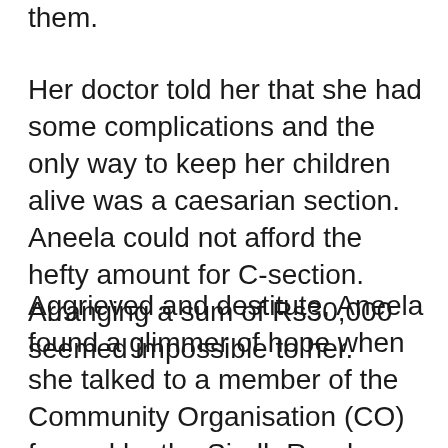them.
Her doctor told her that she had some complications and the only way to keep her children alive was a caesarian section. Aneela could not afford the hefty amount for C-section. Arranging a sum of Rs30,000 seemed impossible to her.
Aggrieved and destitute, Aneela found a glimmer of hope when she talked to a member of the Community Organisation (CO) formed by the Sindh Rural Support Organisation (SRSO) under SUCCESS. The CO leaders served as a bridge-builder between Aneela and the Rural Support Programmes (RSPs) thus reaching for Micro Health Insurance (MIH) component of SUCCESS